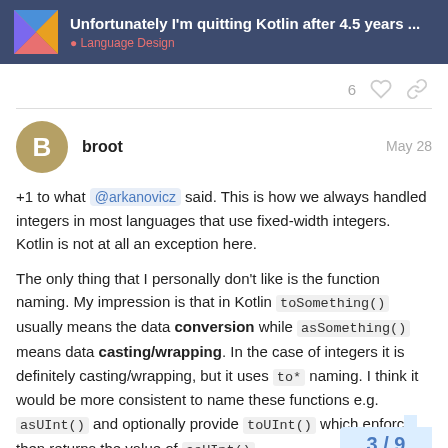Unfortunately I'm quitting Kotlin after 4.5 years ... | Language Design
6 ❤ 🔗
broot  May 28
+1 to what @arkanovicz said. This is how we always handled integers in most languages that use fixed-width integers. Kotlin is not at all an exception here.

The only thing that I personally don't like is the function naming. My impression is that in Kotlin toSomething() usually means the data conversion while asSomething() means data casting/wrapping. In the case of integers it is definitely casting/wrapping, but it uses to* naming. I think it would be more consistent to name these functions e.g. asUInt() and optionally provide toUInt() which enforc... then returns the value of asUInt().
3 / 9